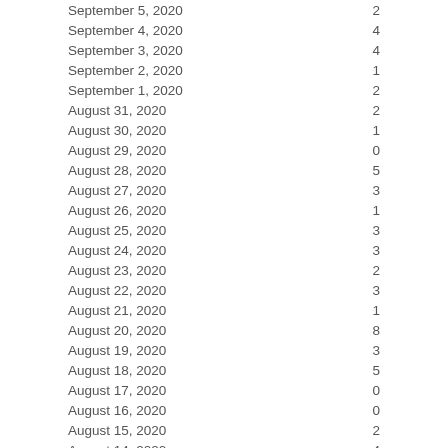| Date | Value |
| --- | --- |
| September 5, 2020 | 2 |
| September 4, 2020 | 4 |
| September 3, 2020 | 4 |
| September 2, 2020 | 1 |
| September 1, 2020 | 2 |
| August 31, 2020 | 2 |
| August 30, 2020 | 1 |
| August 29, 2020 | 0 |
| August 28, 2020 | 5 |
| August 27, 2020 | 3 |
| August 26, 2020 | 1 |
| August 25, 2020 | 3 |
| August 24, 2020 | 3 |
| August 23, 2020 | 2 |
| August 22, 2020 | 3 |
| August 21, 2020 | 1 |
| August 20, 2020 | 8 |
| August 19, 2020 | 3 |
| August 18, 2020 | 5 |
| August 17, 2020 | 0 |
| August 16, 2020 | 0 |
| August 15, 2020 | 2 |
| August 14, 2020 | 4 |